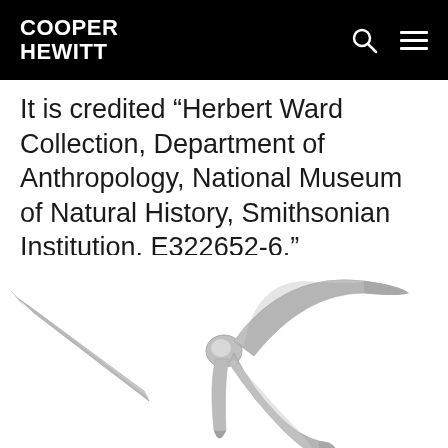COOPER HEWITT
It is credited “Herbert Ward Collection, Department of Anthropology, National Museum of Natural History, Smithsonian Institution, E322652-6.”
[Figure (photo): A metallic multi-pronged hooked implement or weapon (trident-like tool) photographed against a white background, showing sharp angled prongs extending in multiple directions.]